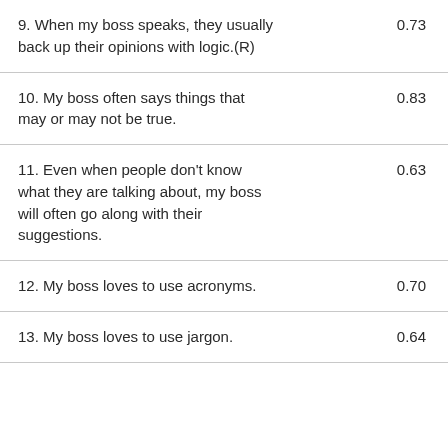| Item | Value |
| --- | --- |
| 9. When my boss speaks, they usually back up their opinions with logic.(R) | 0.73 |
| 10. My boss often says things that may or may not be true. | 0.83 |
| 11. Even when people don't know what they are talking about, my boss will often go along with their suggestions. | 0.63 |
| 12. My boss loves to use acronyms. | 0.70 |
| 13. My boss loves to use jargon. | 0.64 |